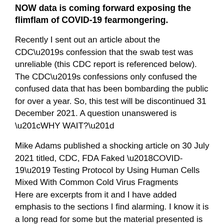NOW data is coming forward exposing the flimflam of COVID-19 fearmongering.
Recently I sent out an article about the CDC’s confession that the swab test was unreliable (this CDC report is referenced below). The CDC’s confessions only confused the confused data that has been bombarding the public for over a year. So, this test will be discontinued 31 December 2021. A question unanswered is “WHY WAIT?”
Mike Adams published a shocking article on 30 July 2021 titled, CDC, FDA Faked ‘COVID-19’ Testing Protocol by Using Human Cells Mixed With Common Cold Virus Fragments
Here are excerpts from it and I have added emphasis to the sections I find alarming. I know it is a long read for some but the material presented is valuable as each considers how to respond to the hyped-hysteria regarding